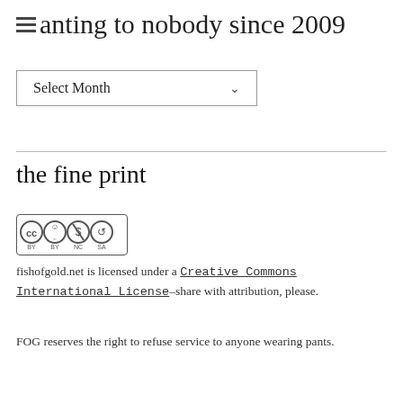ranting to nobody since 2009
[Figure (screenshot): Dropdown widget showing 'Select Month' with a chevron arrow, inside a bordered box]
the fine print
[Figure (logo): Creative Commons BY NC SA license badge with CC, person, dollar-sign-circle and SA circle icons]
fishofgold.net is licensed under a Creative Commons International License–share with attribution, please.
FOG reserves the right to refuse service to anyone wearing pants.